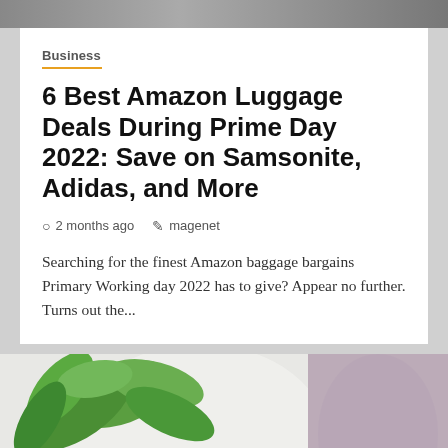[Figure (photo): Partial top image, appears to be a cropped photo header strip]
Business
6 Best Amazon Luggage Deals During Prime Day 2022: Save on Samsonite, Adidas, and More
2 months ago   magenet
Searching for the finest Amazon baggage bargains Primary Working day 2022 has to give? Appear no further. Turns out the...
[Figure (photo): Bottom partial image showing green plant in glass vase on white surface, and a partial blurred purple/grey image on the right]